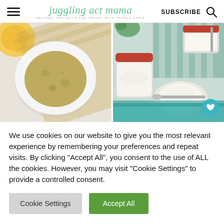juggling act mama — RECIPES, PROJECTS AND TRAVEL WITH ANGELA PARIS — SUBSCRIBE
[Figure (photo): Left: overhead view of a white bowl filled with ground spice/herb mix, on a marble surface with yellow citrus slices and a woven mat. Right: jars of white creamy substance (possibly butter or cream) with teal striped cloth and red-lidded jar in background, silver spoon in foreground, heart save icon in lower right corner.]
We use cookies on our website to give you the most relevant experience by remembering your preferences and repeat visits. By clicking "Accept All", you consent to the use of ALL the cookies. However, you may visit "Cookie Settings" to provide a controlled consent.
Cookie Settings   Accept All